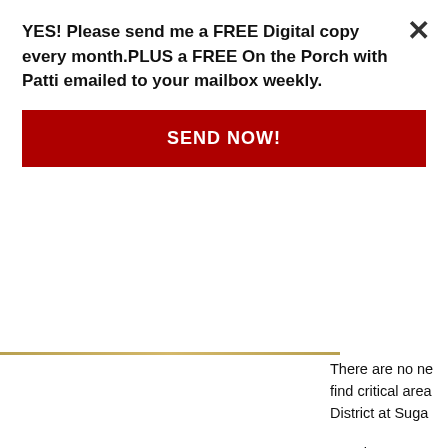YES! Please send me a FREE Digital copy every month.PLUS a FREE On the Porch with Patti emailed to your mailbox weekly.
SEND NOW!
There are no ne... find critical area... District at Suga...
Keeping Sugar... the process to c... need to evolve ... future professio... for decades to ...
The Sugar Lane... connectivity to b... spaces built to ... harmony. An ac... Land – a sweet...